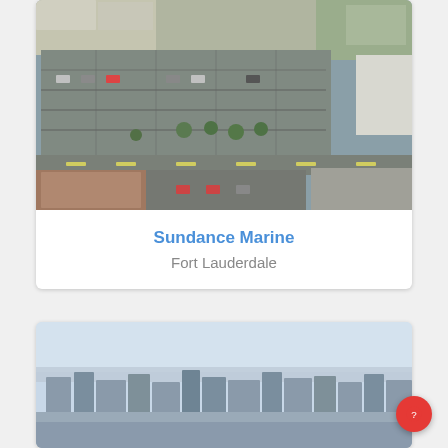[Figure (photo): Aerial/satellite view of Sundance Marine property in Fort Lauderdale showing commercial buildings, large parking lot with many cars, and surrounding roads with trees]
Sundance Marine
Fort Lauderdale
[Figure (photo): Aerial/cityscape photo showing a city skyline in the distance with hazy sky, urban buildings and infrastructure visible]